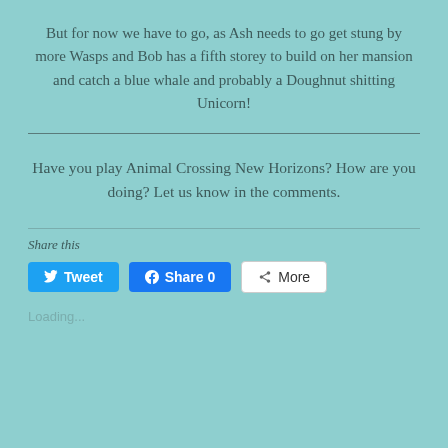But for now we have to go, as Ash needs to go get stung by more Wasps and Bob has a fifth storey to build on her mansion and catch a blue whale and probably a Doughnut shitting Unicorn!
Have you play Animal Crossing New Horizons? How are you doing? Let us know in the comments.
Share this
Tweet  Share 0  More
Loading...